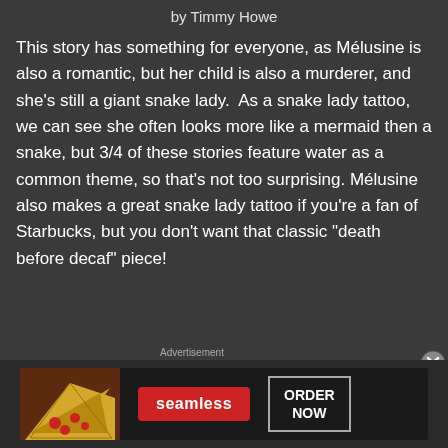by Timmy Howe
This story has something for everyone, as Mélusine is also a romantic, but her child is also a murderer, and she’s still a giant snake lady.  As a snake lady tattoo, we can see she often looks more like a mermaid then a snake, but 3/4 of these stories feature water as a common theme, so that’s not too surprising. Mélusine also makes a great snake lady tattoo if you’re a fan of Starbucks, but you don’t want that classic “death before decaf” piece!
[Figure (screenshot): Seamless food delivery advertisement with pizza image, red Seamless logo button, and ORDER NOW button]